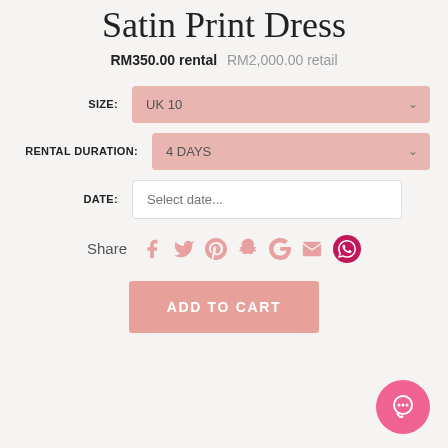Satin Print Dress
RM350.00 rental  RM2,000.00 retail
SIZE: UK 10
RENTAL DURATION: 4 DAYS
DATE: Select date...
Share
ADD TO CART